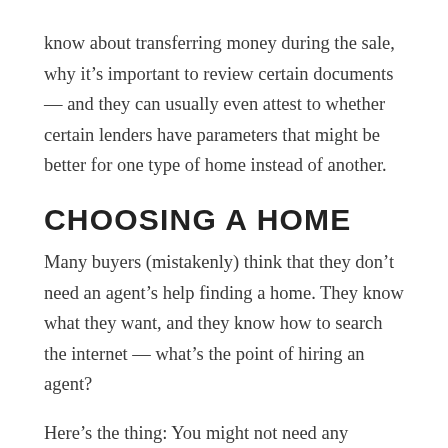know about transferring money during the sale, why it’s important to review certain documents — and they can usually even attest to whether certain lenders have parameters that might be better for one type of home instead of another.
CHOOSING A HOME
Many buyers (mistakenly) think that they don’t need an agent’s help finding a home. They know what they want, and they know how to search the internet — what’s the point of hiring an agent?
Here’s the thing: You might not need any assistance